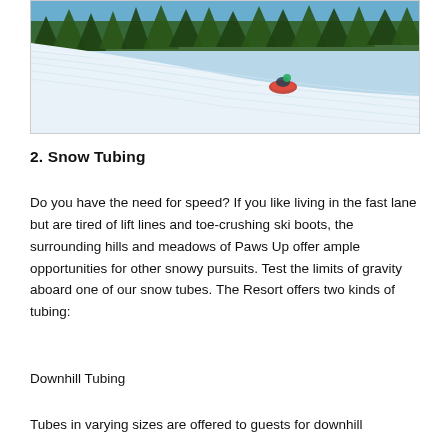[Figure (photo): A person on a red snow tube sliding down a wide groomed snow slope. Pine trees line the top of the hill against a blue sky.]
2. Snow Tubing
Do you have the need for speed? If you like living in the fast lane but are tired of lift lines and toe-crushing ski boots, the surrounding hills and meadows of Paws Up offer ample opportunities for other snowy pursuits. Test the limits of gravity aboard one of our snow tubes. The Resort offers two kinds of tubing:
Downhill Tubing
Tubes in varying sizes are offered to guests for downhill